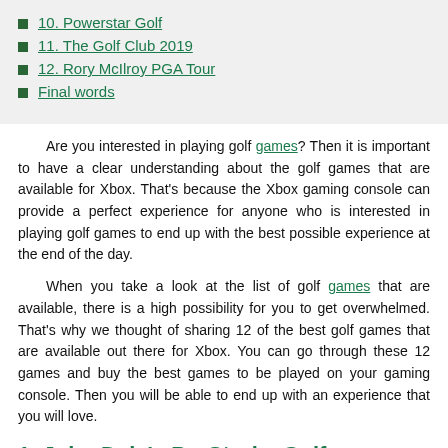10. Powerstar Golf
11. The Golf Club 2019
12. Rory McIlroy PGA Tour
Final words
Are you interested in playing golf games? Then it is important to have a clear understanding about the golf games that are available for Xbox. That's because the Xbox gaming console can provide a perfect experience for anyone who is interested in playing golf games to end up with the best possible experience at the end of the day.
When you take a look at the list of golf games that are available, there is a high possibility for you to get overwhelmed. That's why we thought of sharing 12 of the best golf games that are available out there for Xbox. You can go through these 12 games and buy the best games to be played on your gaming console. Then you will be able to end up with an experience that you will love.
1. John Daly's ProStroke Golf